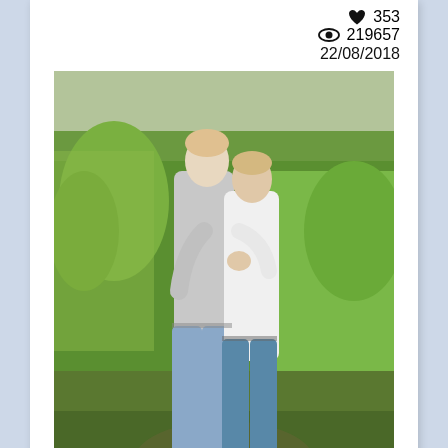♥ 353
👁 219657
22/08/2018
[Figure (photo): Two people embracing outdoors, standing in front of green grass and shrubs. Both wearing light-colored tops and blue jeans.]